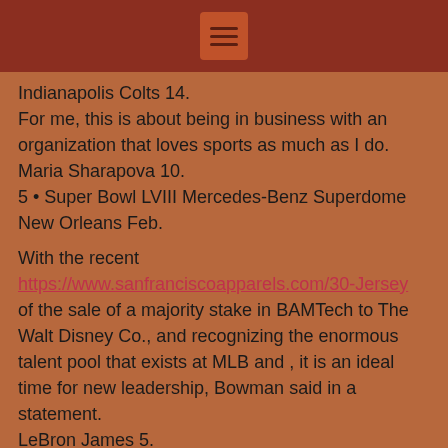☰
Indianapolis Colts 14.
For me, this is about being in business with an organization that loves sports as much as I do.
Maria Sharapova 10.
5 • Super Bowl LVIII Mercedes-Benz Superdome New Orleans Feb.

With the recent https://www.sanfranciscoapparels.com/30-Jersey of the sale of a majority stake in BAMTech to The Walt Disney Co., and recognizing the enormous talent pool that exists at MLB and , it is an ideal time for new leadership, Bowman said in a statement.
LeBron James 5.
Miami Dolphins 6.
Lionel Messi 3.
The College Football Playoff will rotate each year among six Bowls: the Chick-fil-A Peach Bowl, Vizio Fiesta Bowl,